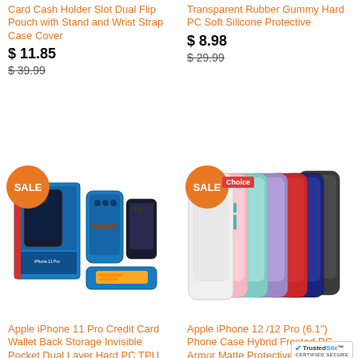Card Cash Holder Slot Dual Flip Pouch with Stand and Wrist Strap Case Cover
$ 11.85
$ 39.99
Transparent Rubber Gummy Hard PC Soft Silicone Protective
$ 8.98
$ 29.99
[Figure (photo): Blue iPhone 11 Pro case with card slot, shown in packaging and outside]
[Figure (photo): Multiple iPhone 12/12 Pro frosted matte cases in various colors fanned out]
Apple iPhone 11 Pro Credit Card Wallet Back Storage Invisible Pocket Dual Layer Hard PC TPU Hybrid Protective
Apple iPhone 12 /12 Pro (6.1") Phone Case Hybrid Frosted PC Armor Matte Protective TPU Rubber Rugged